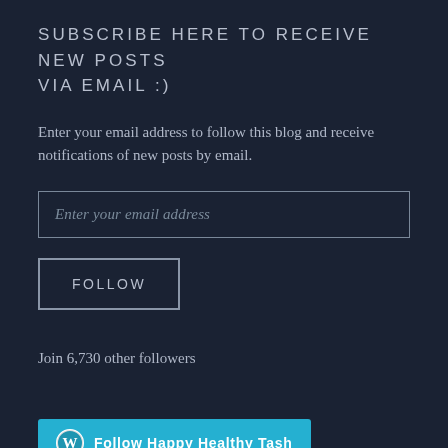SUBSCRIBE HERE TO RECEIVE NEW POSTS VIA EMAIL :)
Enter your email address to follow this blog and receive notifications of new posts by email.
Enter your email address
FOLLOW
Join 6,730 other followers
[Figure (other): WordPress Follow button widget with cyan/teal background showing WordPress logo and text 'Follow Happy Healthy Tash']